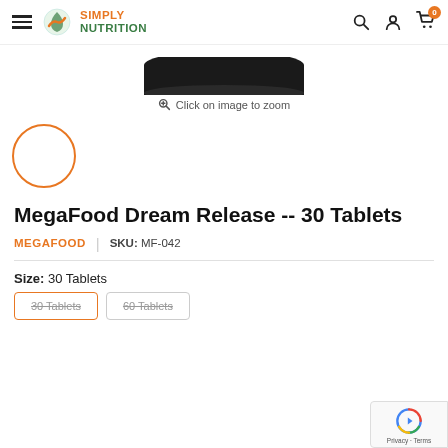Simply Nutrition — navigation header
[Figure (screenshot): Partial product image: bottom of a dark circular product container lid, cropped at top]
Click on image to zoom
[Figure (photo): Small circular thumbnail placeholder with orange border]
MegaFood Dream Release -- 30 Tablets
MEGAFOOD | SKU: MF-042
Size:  30 Tablets
30 Tablets  60 Tablets